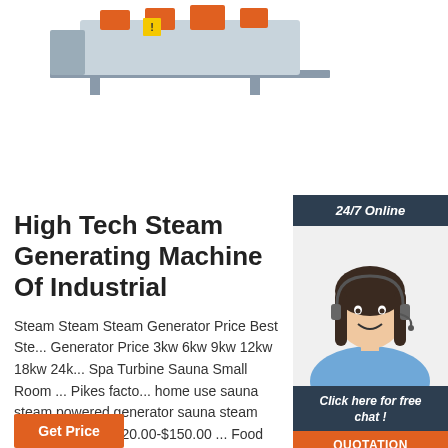[Figure (photo): Industrial steam generating machine / boiler unit, partially visible at top of page, showing orange and grey metal components on a frame]
[Figure (photo): 24/7 Online chat widget with a smiling female customer service agent wearing a headset, dark blue header reading '24/7 Online', italic text 'Click here for free chat!' and orange QUOTATION button]
High Tech Steam Generating Machine Of Industrial
Steam Steam Steam Generator Price Best Steam Generator Price 3kw 6kw 9kw 12kw 18kw 24kw Spa Turbine Sauna Small Room ... Pikes factory price home use sauna steam powered generator sauna steam bath machine. $120.00-$150.00 ... Food industry Automatic gas oil steam boiler 50 to 1000 KG steam generating machine. $8,000.00-$20,000.00 Set ...